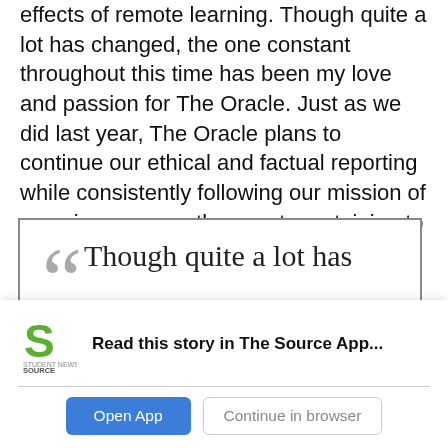effects of remote learning. Though quite a lot has changed, the one constant throughout this time has been my love and passion for The Oracle. Just as we did last year, The Oracle plans to continue our ethical and factual reporting while consistently following our mission of covering newsworthy events pertaining to Archer and the greater community.
[Figure (other): Pull quote box with large decorative quotation marks and text: 'Though quite a lot has changed, the one constant']
[Figure (screenshot): App download banner overlay: Student News Source logo, 'Read this story in The Source App...' with Open App and Continue in browser buttons]